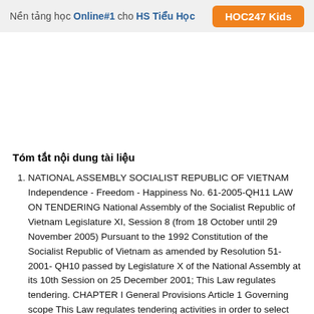Nền tảng học Online#1 cho HS Tiểu Học  HOC247 Kids
Tóm tắt nội dung tài liệu
NATIONAL ASSEMBLY SOCIALIST REPUBLIC OF VIETNAM Independence - Freedom - Happiness No. 61-2005-QH11 LAW ON TENDERING National Assembly of the Socialist Republic of Vietnam Legislature XI, Session 8 (from 18 October until 29 November 2005) Pursuant to the 1992 Constitution of the Socialist Republic of Vietnam as amended by Resolution 51-2001- QH10 passed by Legislature X of the National Assembly at its 10th Session on 25 December 2001; This Law regulates tendering. CHAPTER I General Provisions Article 1 Governing scope This Law regulates tendering activities in order to select contractors for provision of consultancy services, for procurement of goods, and for construction and installation for